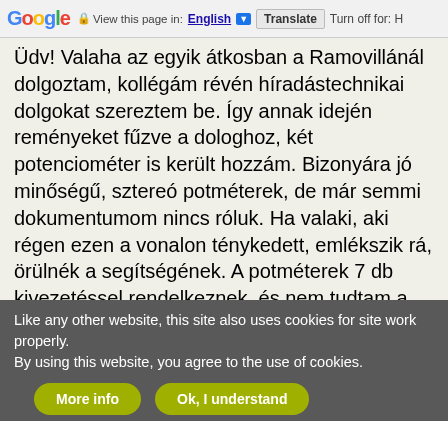Google | View this page in: English [▼] | Translate | Turn off for: H
Üdv! Valaha az egyik átkosban a Ramovillánál dolgoztam, kollégám révén híradástechnikai dolgokat szereztem be. Így annak idején reményeket fűzve a dologhoz, két potenciométer is került hozzám. Bizonyára jó minőségű, sztereó potméterek, de már semmi dokumentumom nincs róluk. Ha valaki, aki régen ezen a vonalon ténykedett, emlékszik rá, örülnék a segítségének. A potméterek 7 db kivezetéssel rendelkeznek, és nem tudtam a nyitjára jönni, miképpen alkalmazhatnám - ha lehet egyáltalán - egy sztereó rendszerben.Volt valami furfang, hogy hangosság szabályozás, vagy ilyemi is beköthető legyen, de ez már csak halovány sejtés - volt ez vagy 25 éve. :( Megpróbálom majd az összes kivezetést az összes többivel kimérni, táblázatba rendezni, ha nincs más megoldás, de hátha valakinél ott a bölcsek kapcsolási rajza. 2 db-om is van, hátha nem maradnának adat híján parlagon.
Like any other website, this site also uses cookies for site work properly.
By using this website, you agree to the use of cookies.
More info | Ok, I understand